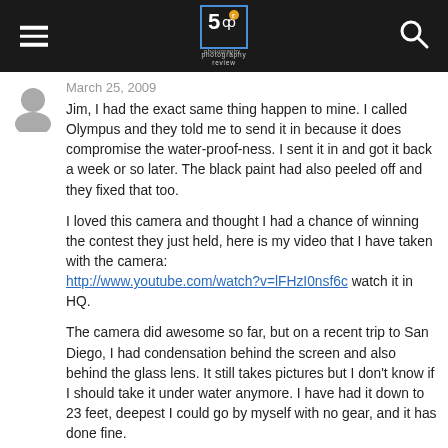Photography Review
[Figure (logo): Photography Review website logo with camera icon and site name]
March 25, 2009
Jim, I had the exact same thing happen to mine. I called Olympus and they told me to send it in because it does compromise the water-proof-ness. I sent it in and got it back a week or so later. The black paint had also peeled off and they fixed that too.

I loved this camera and thought I had a chance of winning the contest they just held, here is my video that I have taken with the camera: http://www.youtube.com/watch?v=lFHzI0nsf6c watch it in HQ.

The camera did awesome so far, but on a recent trip to San Diego, I had condensation behind the screen and also behind the glass lens. It still takes pictures but I don't know if I should take it under water anymore. I have had it down to 23 feet, deepest I could go by myself with no gear, and it has done fine.